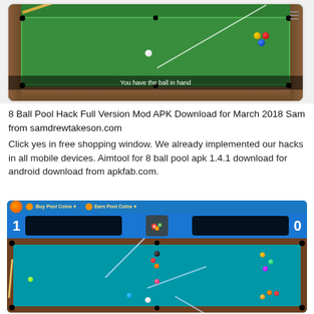[Figure (screenshot): 8 Ball Pool mobile game screenshot showing a pool table with a cue stick, balls, and 'You have the ball in hand' message at the bottom]
8 Ball Pool Hack Full Version Mod APK Download for March 2018 Sam from samdrewtakeson.com
Click yes in free shopping window. We already implemented our hacks in all mobile devices. Aimtool for 8 ball pool apk 1.4.1 download for android download from apkfab.com.
[Figure (screenshot): 8 Ball Pool mobile game screenshot showing a pool table with score 1-0, multiple balls, a cue stick, and aiming guide lines. UI shows Buy Pool Coins and Earn Pool Coins buttons at top.]